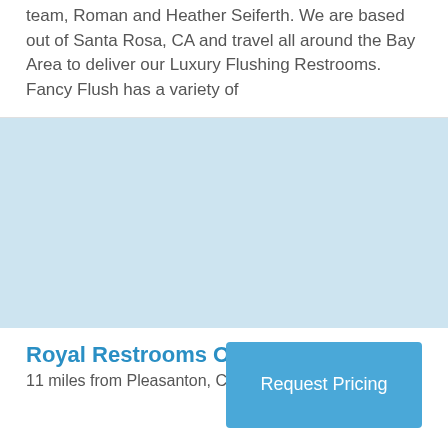team, Roman and Heather Seiferth. We are based out of Santa Rosa, CA and travel all around the Bay Area to deliver our Luxury Flushing Restrooms. Fancy Flush has a variety of
[Figure (photo): Light blue placeholder image area representing a photo]
Royal Restrooms Of California
11 miles from Pleasanton, CA
Request Pricing